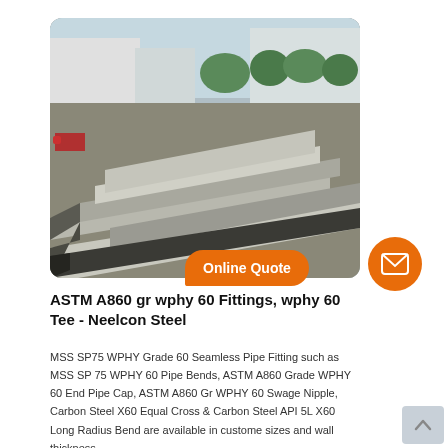[Figure (photo): Stacked steel plates in an outdoor industrial yard with buildings and trees in background]
ASTM A860 gr wphy 60 Fittings, wphy 60 Tee - Neelcon Steel
MSS SP75 WPHY Grade 60 Seamless Pipe Fitting such as MSS SP 75 WPHY 60 Pipe Bends, ASTM A860 Grade WPHY 60 End Pipe Cap, ASTM A860 Gr WPHY 60 Swage Nipple, Carbon Steel X60 Equal Cross & Carbon Steel API 5L X60 Long Radius Bend are available in custome sizes and wall thickness.